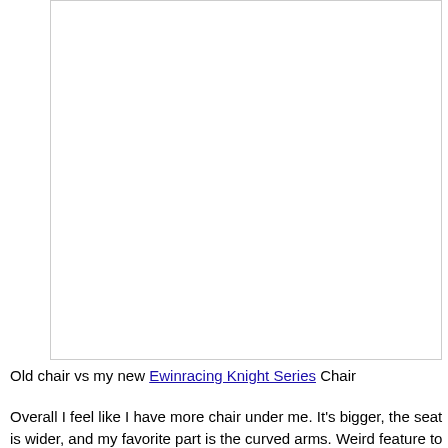[Figure (photo): Empty white rectangular image box representing a photo placeholder for old chair vs new Ewinracing Knight Series Chair comparison]
Old chair vs my new Ewinracing Knight Series Chair
Overall I feel like I have more chair under me. It's bigger, the seat is wider, and my favorite part is the curved arms. Weird feature to